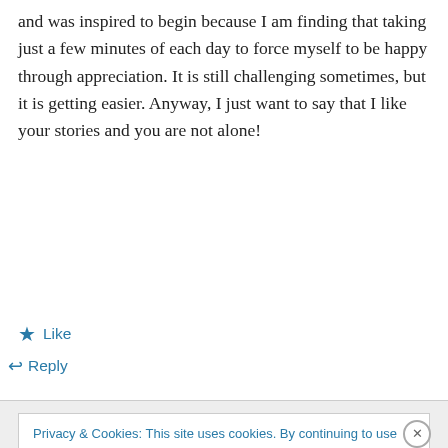and was inspired to begin because I am finding that taking just a few minutes of each day to force myself to be happy through appreciation. It is still challenging sometimes, but it is getting easier. Anyway, I just want to say that I like your stories and you are not alone!
★ Like
↪ Reply
Privacy & Cookies: This site uses cookies. By continuing to use this website, you agree to their use.
To find out more, including how to control cookies, see here: Cookie Policy
Close and accept